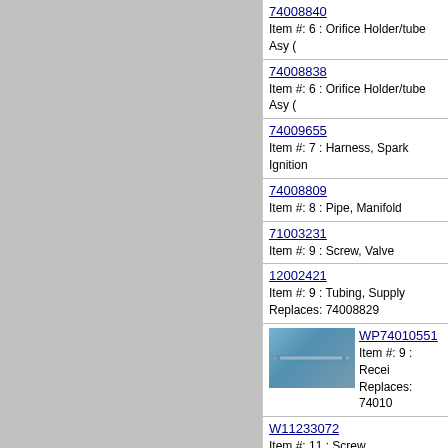| Part Number | Description |
| --- | --- |
| 74008840 | Item #: 6 : Orifice Holder/tube Asy ( |
| 74008838 | Item #: 6 : Orifice Holder/tube Asy ( |
| 74009655 | Item #: 7 : Harness, Spark Ignition |
| 74008809 | Item #: 8 : Pipe, Manifold |
| 71003231 | Item #: 9 : Screw, Valve |
| 12002421 | Item #: 9 : Tubing, Supply
Replaces: 74008829 |
| WP74010551 | Item #: 9 : Recei
Replaces: 74010 |
| W11233072 | Item #: 11 : Screw, (no.8x1/2``pph)
Replaces: 74009268 |
| 3601P336-45 | Item #: 12 : Baffle, Broil Burner
Replaces: 74008819 |
| 74007498 |  |